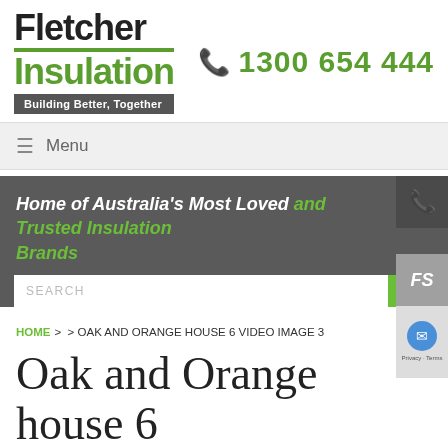[Figure (logo): Fletcher Insulation logo with tagline 'Building Better, Together']
1300 654 444
≡ Menu
Home of Australia's Most Loved and Trusted Insulation Brands
SEARCH
HOME > > OAK AND ORANGE HOUSE 6 VIDEO IMAGE 3
Oak and Orange house 6